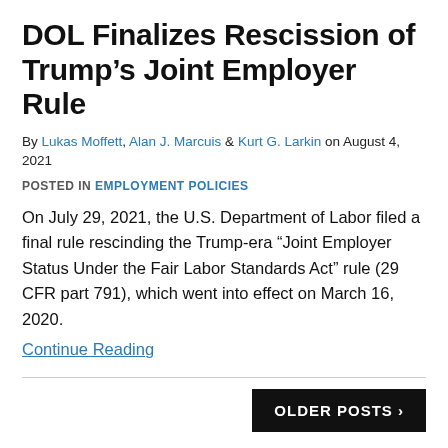DOL Finalizes Rescission of Trump’s Joint Employer Rule
By Lukas Moffett, Alan J. Marcuis & Kurt G. Larkin on August 4, 2021
POSTED IN EMPLOYMENT POLICIES
On July 29, 2021, the U.S. Department of Labor filed a final rule rescinding the Trump-era “Joint Employer Status Under the Fair Labor Standards Act” rule (29 CFR part 791), which went into effect on March 16, 2020.
Continue Reading
OLDER POSTS ›